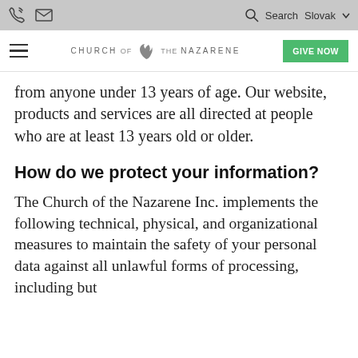Church of the Nazarene — navigation bar with phone, mail icons, search, Slovak language selector, hamburger menu, logo, and GIVE NOW button
from anyone under 13 years of age. Our website, products and services are all directed at people who are at least 13 years old or older.
How do we protect your information?
The Church of the Nazarene Inc. implements the following technical, physical, and organizational measures to maintain the safety of your personal data against all unlawful forms of processing, including but